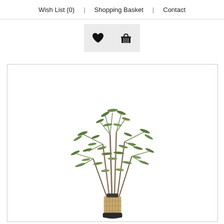Wish List (0)  |  Shopping Basket  |  Contact
[Figure (other): Two icon buttons: a heart (wishlist) and a shopping basket, displayed as square icon buttons with light grey backgrounds.]
[Figure (photo): A product photo of an artificial olive or similar leafy tree/plant with narrow green leaves on multiple branches, set in a dark pot with a light wicker basket wrap, shown against a white background inside a bordered frame.]